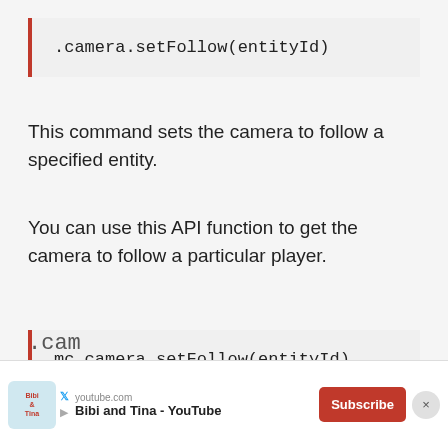.camera.setFollow(entityId)
This command sets the camera to follow a specified entity.
You can use this API function to get the camera to follow a particular player.
mc.camera.setFollow(entityId)
.cam
[Figure (other): YouTube advertisement banner for Bibi and Tina channel with Subscribe button and close button]